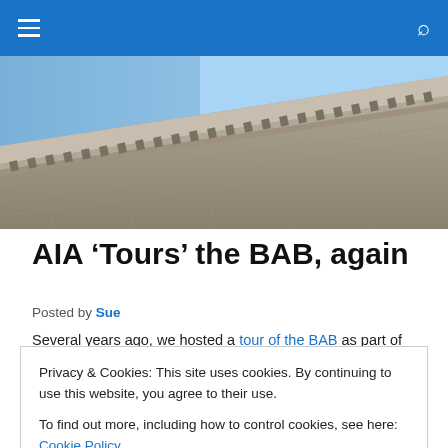Navigation bar with hamburger menu and search icon
[Figure (photo): Photograph of the corner of a classical stone building with cornice and columns against a blue sky]
AIA ‘Tours’ the BAB, again
Posted by Sue
Several years ago, we hosted a tour of the BAB as part of organizations have been looking for ways to engage
Privacy & Cookies: This site uses cookies. By continuing to use this website, you agree to their use.
To find out more, including how to control cookies, see here: Cookie Policy
Close and accept